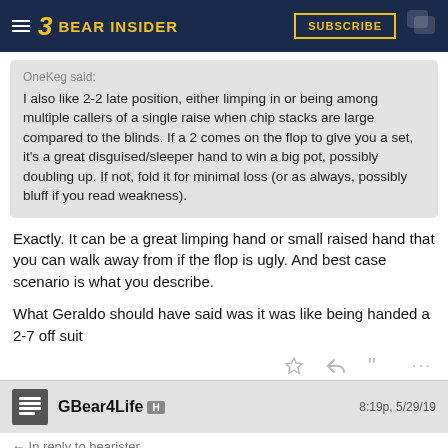Bear Insider — SUBSCRIBE
OneKeg said: I also like 2-2 late position, either limping in or being among multiple callers of a single raise when chip stacks are large compared to the blinds. If a 2 comes on the flop to give you a set, it's a great disguised/sleeper hand to win a big pot, possibly doubling up. If not, fold it for minimal loss (or as always, possibly bluff if you read weakness).
Exactly. It can be a great limping hand or small raised hand that you can walk away from if the flop is ugly. And best case scenario is what you describe.
What Geraldo should have said was it was like being handed a 2-7 off suit
GBear4Life H  8:19p, 5/29/19
In reply to bearister
Define "support". Be specific. Like "still would vote for him" or like "fanboy denial about his flaws".